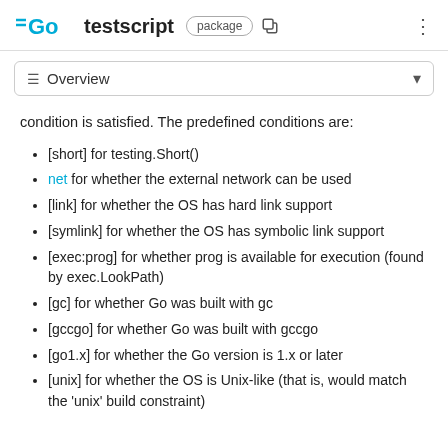GO testscript package
≡ Overview
condition is satisfied. The predefined conditions are:
[short] for testing.Short()
net for whether the external network can be used
[link] for whether the OS has hard link support
[symlink] for whether the OS has symbolic link support
[exec:prog] for whether prog is available for execution (found by exec.LookPath)
[gc] for whether Go was built with gc
[gccgo] for whether Go was built with gccgo
[go1.x] for whether the Go version is 1.x or later
[unix] for whether the OS is Unix-like (that is, would match the 'unix' build constraint)